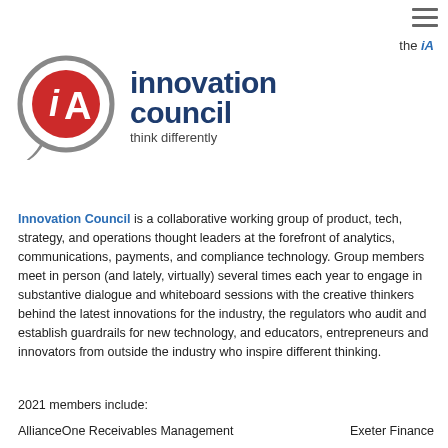[Figure (logo): iA Innovation Council logo with circular iA emblem and text 'innovation council think differently']
Innovation Council is a collaborative working group of product, tech, strategy, and operations thought leaders at the forefront of analytics, communications, payments, and compliance technology. Group members meet in person (and lately, virtually) several times each year to engage in substantive dialogue and whiteboard sessions with the creative thinkers behind the latest innovations for the industry, the regulators who audit and establish guardrails for new technology, and educators, entrepreneurs and innovators from outside the industry who inspire different thinking.
2021 members include:
AllianceOne Receivables Management    Exeter Finance